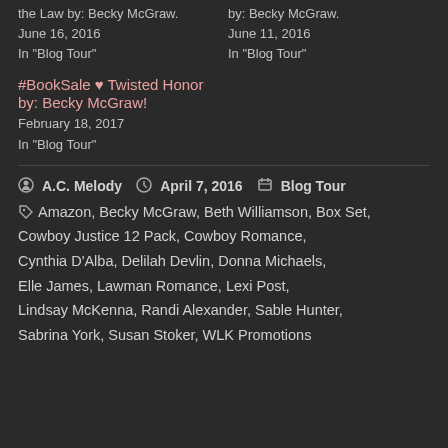the Law by: Becky McGraw. June 16, 2016 In "Blog Tour"
by: Becky McGraw. June 11, 2016 In "Blog Tour"
#BookSale ♥ Twisted Honor by: Becky McGraw! February 18, 2017 In "Blog Tour"
Post by: A.C. Melody  April 7, 2016  Blog Tour
Amazon, Becky McGraw, Beth Williamson, Box Set, Cowboy Justice 12 Pack, Cowboy Romance, Cynthia D'Alba, Delilah Devlin, Donna Michaels, Elle James, Lawman Romance, Lexi Post, Lindsay McKenna, Randi Alexander, Sable Hunter, Sabrina York, Susan Stoker, WLK Promotions